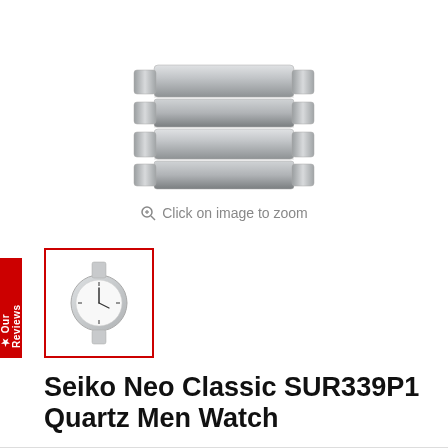[Figure (photo): Seiko watch stainless steel bracelet/band, cropped view from above showing the link structure, silver metallic color]
Click on image to zoom
[Figure (photo): Thumbnail of Seiko Neo Classic SUR339P1 watch with white dial and silver bracelet, selected with red border]
Seiko Neo Classic SUR339P1 Quartz Men Watch
Save RM156.00
SEIKO